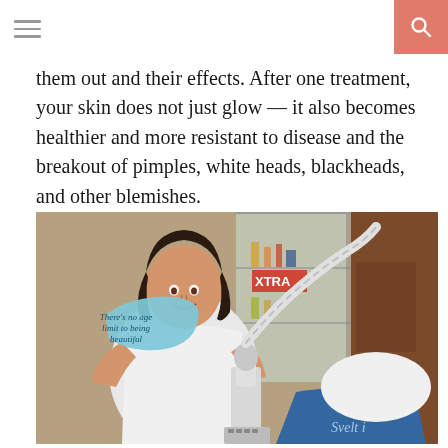Navigation menu and search button
them out and their effects. After one treatment, your skin does not just glow — it also becomes healthier and more resistant to disease and the breakout of pimples, white heads, blackheads, and other blemishes.
[Figure (photo): A woman in a white shirt smiling and holding a blue sign that reads 'There's no age limit to being beautiful', standing next to a medical/beauty device with a hose, in what appears to be a beauty salon or clinic. A blue towel with 'Svelt i' text is visible in the foreground.]